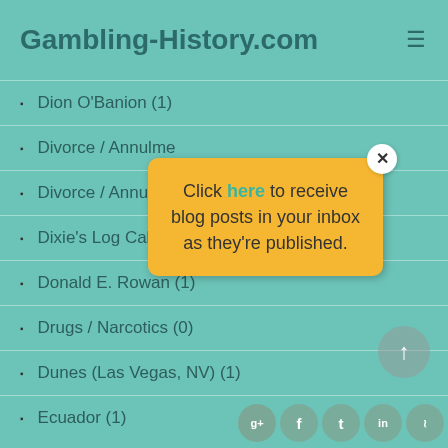Gambling-History.com
Dion O'Banion (1)
Divorce / Annulme…
Divorce / Annulme…
Dixie's Log Cabin
Donald E. Rowan (1)
Drugs / Narcotics (0)
Dunes (Las Vegas, NV) (1)
Ecuador (1)
[Figure (screenshot): Popup modal with yellow background and close button reading: Click here to receive blog posts in your inbox as they're published.]